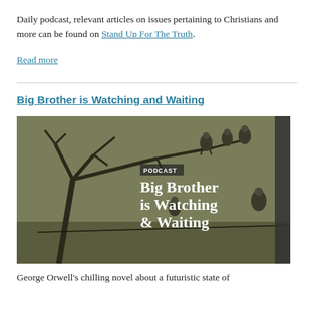Daily podcast, relevant articles on issues pertaining to Christians and more can be found on Stand Up For The Truth.
Read more
Big Brother is Watching and Waiting
[Figure (photo): Podcast thumbnail image showing vultures perched on bare tree branches against a muted olive-green sky. Overlaid text reads 'PODCAST' in a label, then 'Big Brother is Watching & Waiting' in large white serif font. A vertical sidebar on the right reads 'STAND UP FOR THE TRUTH'.]
George Orwell's chilling novel about a futuristic state of